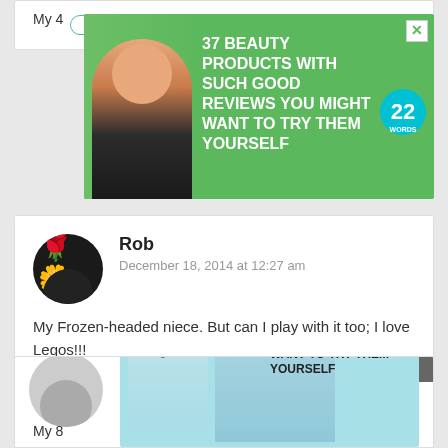[Figure (screenshot): Advertisement banner: 37 Beauty Products With Such Good Reviews You Might Want To Try Them Yourself, with woman's photo on green background, 22 Words badge]
My 4
Reply
[Figure (photo): Avatar of Rob - circular photo with flowers/bouquet against dark background]
Rob
December 18, 2014 at 12:27 am
My Frozen-headed niece. But can I play with it too; I love Legos!!!
Reply
CLOSE
[Figure (screenshot): Advertisement banner: 37 Beauty Products With Such Good Reviews You Might Want To Try Them Yourself, with woman's photo and product shot on light blue background, 22 Words badge]
My 8